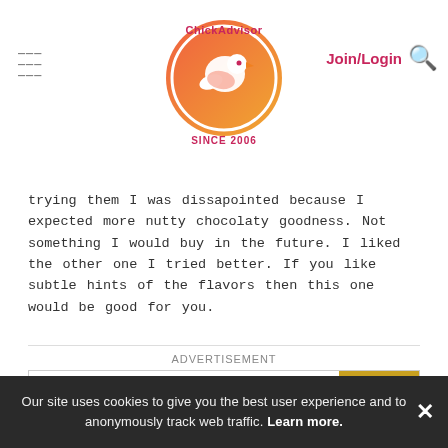ChickAdvisor Since 2006 | Join/Login | Search
trying them I was dissapointed because I expected more nutty chocolaty goodness. Not something I would buy in the future. I liked the other one I tried better. If you like subtle hints of the flavors then this one would be good for you.
[Figure (infographic): Advertisement banner: The Old Dormouse brand. Text: The perfect gift. Shows carousel of gift items with navigation arrows and a bowl of food. Right side gold box: 35% OFF + FREE SHIPPING]
leeyatwah 513 June 14, 2018
Taste (stars rating)
Our site uses cookies to give you the best user experience and to anonymously track web traffic. Learn more.